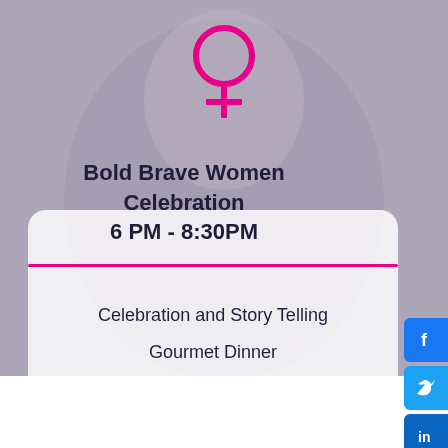[Figure (illustration): Pink female/Venus symbol icon centered at top of page]
Bold Brave Women Celebration 6 PM - 8:30PM
Celebration and Story Telling
Gourmet Dinner